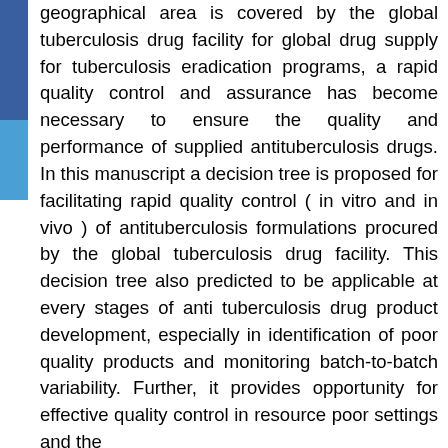geographical area is covered by the global tuberculosis drug facility for global drug supply for tuberculosis eradication programs, a rapid quality control and assurance has become necessary to ensure the quality and performance of supplied antituberculosis drugs. In this manuscript a decision tree is proposed for facilitating rapid quality control ( in vitro and in vivo ) of antituberculosis formulations procured by the global tuberculosis drug facility. This decision tree also predicted to be applicable at every stages of anti tuberculosis drug product development, especially in identification of poor quality products and monitoring batch-to-batch variability. Further, it provides opportunity for effective quality control in resource poor settings and the